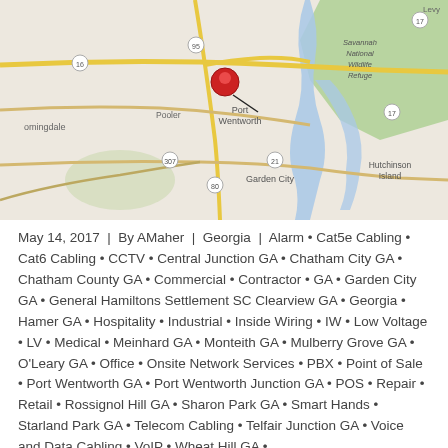[Figure (map): Google Maps view of Port Wentworth, Georgia area showing surrounding communities including Garden City, Hutchinson Island, and Savannah National Wildlife Refuge. A red map pin marks Port Wentworth.]
May 14, 2017 | By AMaher | Georgia | Alarm • Cat5e Cabling • Cat6 Cabling • CCTV • Central Junction GA • Chatham City GA • Chatham County GA • Commercial • Contractor • GA • Garden City GA • General Hamiltons Settlement SC Clearview GA • Georgia • Hamer GA • Hospitality • Industrial • Inside Wiring • IW • Low Voltage • LV • Medical • Meinhard GA • Monteith GA • Mulberry Grove GA • O'Leary GA • Office • Onsite Network Services • PBX • Point of Sale • Port Wentworth GA • Port Wentworth Junction GA • POS • Repair • Retail • Rossignol Hill GA • Sharon Park GA • Smart Hands • Starland Park GA • Telecom Cabling • Telfair Junction GA • Voice and Data Cabling • VoIP • Wheat Hill GA •